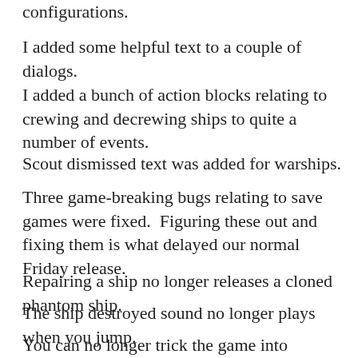configurations.
I added some helpful text to a couple of dialogs.
I added a bunch of action blocks relating to crewing and decrewing ships to quite a number of events.
Scout dismissed text was added for warships.
Three game-breaking bugs relating to save games were fixed.  Figuring these out and fixing them is what delayed our normal Friday release.
Repairing a ship no longer releases a cloned phantom ship.
The ship destroyed sound no longer plays when you jump.
You can no longer trick the game into crewing a different ship by going into the starmap.